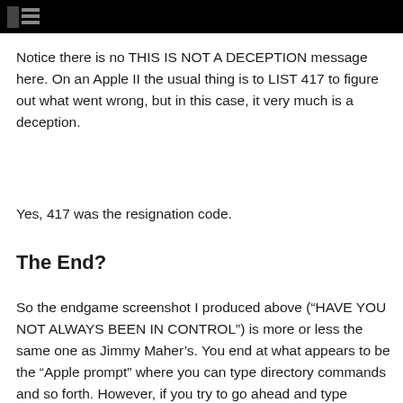[Figure (screenshot): Black header bar with a small white icon (resembling a document or grid icon) in the top-left corner]
Notice there is no THIS IS NOT A DECEPTION message here. On an Apple II the usual thing is to LIST 417 to figure out what went wrong, but in this case, it very much is a deception.
Yes, 417 was the resignation code.
The End?
So the endgame screenshot I produced above (“HAVE YOU NOT ALWAYS BEEN IN CONTROL”) is more or less the same one as Jimmy Maher’s. You end at what appears to be the “Apple prompt” where you can type directory commands and so forth. However, if you try to go ahead and type something, the game intercepts your input and